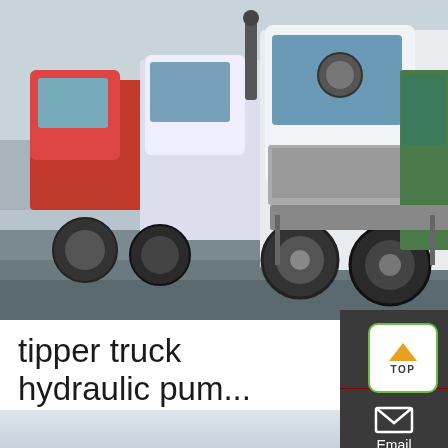[Figure (photo): Photo of multiple white and colored tipper/semi trucks parked on a yard, front cab view]
tipper truck hydraulic pum...
3,910 tipper truck hydraulic pump products are offered for sale by suppliers on Alibaba.com, of which hydraulic parts accounts for 8%, pumps accounts for 1%. A wid
[Figure (infographic): Right sidebar with Chat, Email, Contact icons on dark background]
[Figure (other): Green TOP button with up arrow]